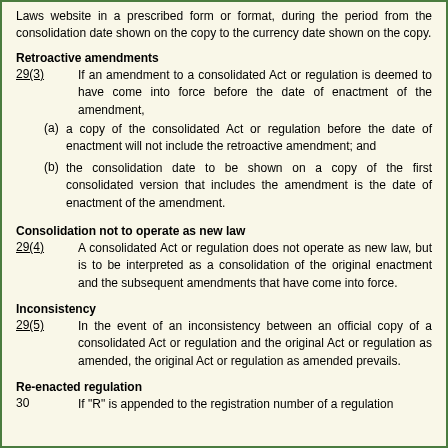Laws website in a prescribed form or format, during the period from the consolidation date shown on the copy to the currency date shown on the copy.
Retroactive amendments
29(3)   If an amendment to a consolidated Act or regulation is deemed to have come into force before the date of enactment of the amendment,
(a) a copy of the consolidated Act or regulation before the date of enactment will not include the retroactive amendment; and
(b) the consolidation date to be shown on a copy of the first consolidated version that includes the amendment is the date of enactment of the amendment.
Consolidation not to operate as new law
29(4)   A consolidated Act or regulation does not operate as new law, but is to be interpreted as a consolidation of the original enactment and the subsequent amendments that have come into force.
Inconsistency
29(5)   In the event of an inconsistency between an official copy of a consolidated Act or regulation and the original Act or regulation as amended, the original Act or regulation as amended prevails.
Re-enacted regulation
30   If "R" is appended to the registration number of a regulation